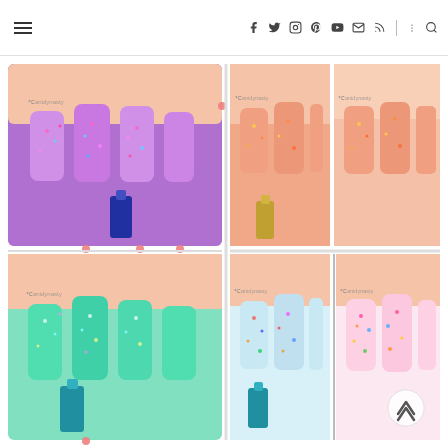☰  [Blog navigation icons: facebook, twitter, instagram, pinterest, youtube, mail, rss, menu, search]
[Figure (photo): Collage of four nail polish swatch photos showing glitter nail art. Top-left: purple/violet nails with colorful glitter and a dark blue polish bottle. Top-right: coral/peach nails with gold-toned glitter and a gold polish bottle. Bottom-left: teal/mint nails with iridescent glitter and a teal polish bottle. Bottom-right: light blue/white nails with multicolor glitter and a teal bottle; also a smaller image of pink/pastel nails with confetti glitter.]